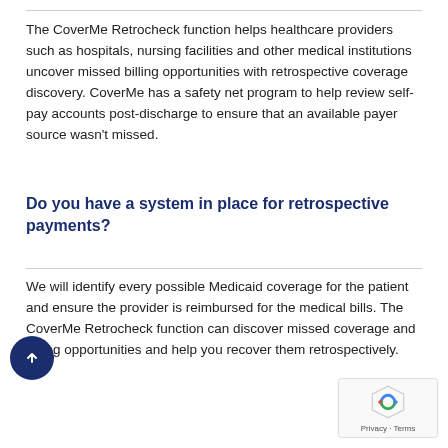The CoverMe Retrocheck function helps healthcare providers such as hospitals, nursing facilities and other medical institutions uncover missed billing opportunities with retrospective coverage discovery. CoverMe has a safety net program to help review self-pay accounts post-discharge to ensure that an available payer source wasn't missed.
Do you have a system in place for retrospective payments?
We will identify every possible Medicaid coverage for the patient and ensure the provider is reimbursed for the medical bills. The CoverMe Retrocheck function can discover missed coverage and billing opportunities and help you recover them retrospectively.